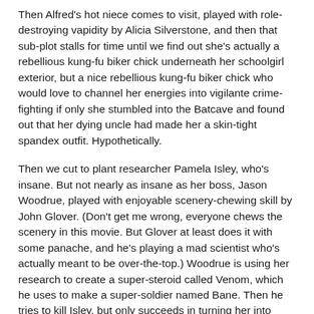Then Alfred's hot niece comes to visit, played with role-destroying vapidity by Alicia Silverstone, and then that sub-plot stalls for time until we find out she's actually a rebellious kung-fu biker chick underneath her schoolgirl exterior, but a nice rebellious kung-fu biker chick who would love to channel her energies into vigilante crime-fighting if only she stumbled into the Batcave and found out that her dying uncle had made her a skin-tight spandex outfit. Hypothetically.
Then we cut to plant researcher Pamela Isley, who's insane. But not nearly as insane as her boss, Jason Woodrue, played with enjoyable scenery-chewing skill by John Glover. (Don't get me wrong, everyone chews the scenery in this movie. But Glover at least does it with some panache, and he's playing a mad scientist who's actually meant to be over-the-top.) Woodrue is using her research to create a super-steroid called Venom, which he uses to make a super-soldier named Bane. Then he tries to kill Isley, but only succeeds in turning her into Poison Ivy, which allows her to make a rather more successful murder attempt on Woodrue. (Uma Thurman, by the way, delivers all her lines like she's channeling Kim Cattrall in "Big Trouble In Little China".)